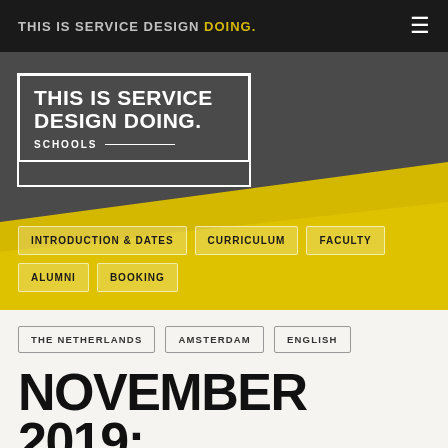THIS IS SERVICE DESIGN DOING.
[Figure (logo): THIS IS SERVICE DESIGN DOING. SCHOOLS logo in white text on dark/yellow hero background]
INTRODUCTION & DATES
CURRICULUM
FACULTY
ALUMNI
BOOKING
THE NETHERLANDS    AMSTERDAM    ENGLISH
NOVEMBER 2019: EXECUTIVE AMSTERDAM